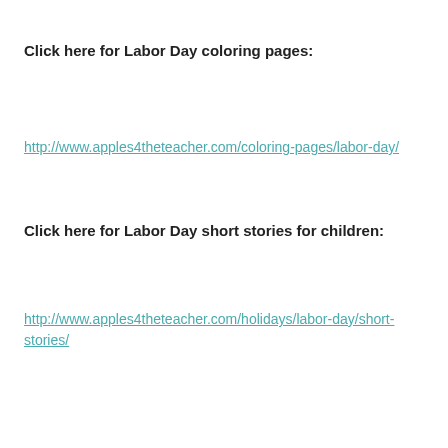Click here for Labor Day coloring pages:
http://www.apples4theteacher.com/coloring-pages/labor-day/
Click here for Labor Day short stories for children:
http://www.apples4theteacher.com/holidays/labor-day/short-stories/